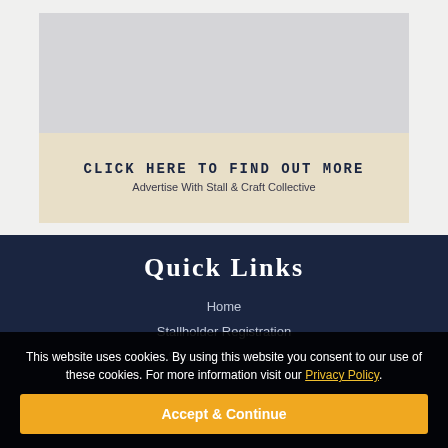[Figure (illustration): Advertisement box with gray image area at top and beige background. Contains bold text 'CLICK HERE TO FIND OUT MORE' and subtitle 'Advertise With Stall & Craft Collective']
Quick Links
Home
Stallholder Registration
Search Stallholders
This website uses cookies. By using this website you consent to our use of these cookies. For more information visit our Privacy Policy.
Accept & Continue